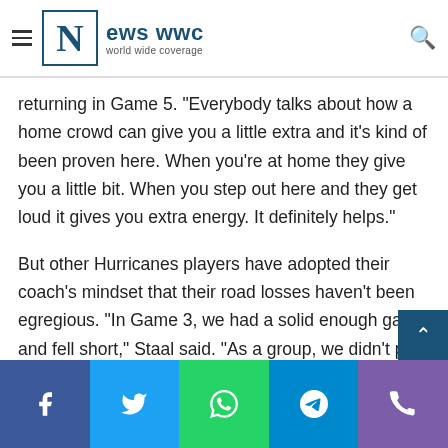News WWC - world wide coverage
returning in Game 5. “Everybody talks about how a home crowd can give you a little extra and it’s kind of been proven here. When you’re at home they give you a little bit. When you step out here and they get loud it gives you extra energy. It definitely helps.”
But other Hurricanes players have adopted their coach’s mindset that their road losses haven’t been egregious. “In Game 3, we had a solid enough game and fell short,” Staal said. “As a group, we didn’t play very well in Game 4. We were sloppy. We’re hoping to sharpen the knife again with a better effort.”
Facebook | Twitter | WhatsApp | Telegram | Phone